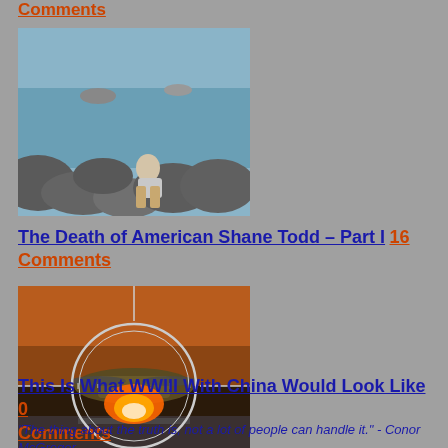Comments
[Figure (photo): Man sitting on rocks by the ocean]
The Death of American Shane Todd – Part I 16 Comments
[Figure (photo): Military aircraft viewed through a sniper scope crosshair with fire/explosion]
This Is What WWIII With China Would Look Like 0 Comments
"The thing about the truth is, not a lot of people can handle it." - Conor McGregor